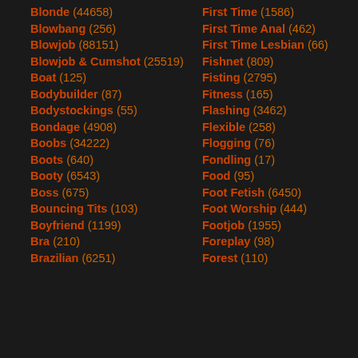Blonde (44658)
Blowbang (256)
Blowjob (88151)
Blowjob & Cumshot (25519)
Boat (125)
Bodybuilder (87)
Bodystockings (55)
Bondage (4908)
Boobs (34222)
Boots (640)
Booty (6543)
Boss (675)
Bouncing Tits (103)
Boyfriend (1199)
Bra (210)
Brazilian (6251)
First Time (1586)
First Time Anal (462)
First Time Lesbian (66)
Fishnet (809)
Fisting (2795)
Fitness (165)
Flashing (3462)
Flexible (258)
Flogging (76)
Fondling (17)
Food (95)
Foot Fetish (6450)
Foot Worship (444)
Footjob (1955)
Foreplay (98)
Forest (110)